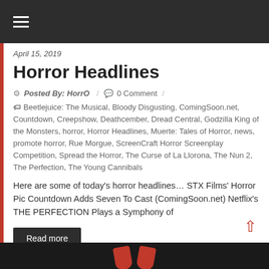≡
April 15, 2019
Horror Headlines
Posted By: HorrO / 0 Comment /
Beetlejuice: The Musical, Bloody Disgusting, ComingSoon.net, Countdown, Creepshow, Deathcember, Dread Central, Godzilla King of the Monsters, horror, Horror Headlines, Muerte: Tales of Horror, news, promote horror, Rue Morgue, ScreenCraft Horror Screenplay Competition, Spread the Horror, The Curse of La Llorona, The Nun 2, The Perfection, The Young Cannibals
Here are some of today's horror headlines… STX Films' Horror Pic Countdown Adds Seven To Cast (ComingSoon.net) Netflix's THE PERFECTION Plays a Symphony of
Read more
[Figure (photo): Dark thumbnail image at bottom of page showing two red thumbs up icons on black background]